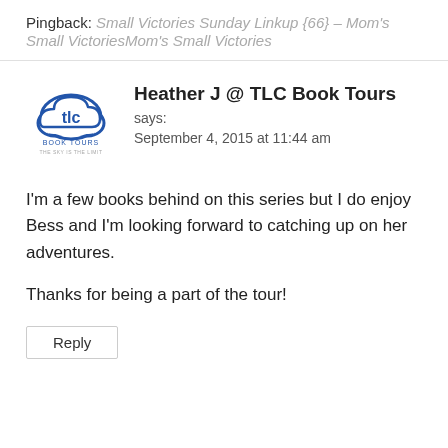Pingback: Small Victories Sunday Linkup {66} – Mom's Small VictoriesMom's Small Victories
[Figure (logo): TLC Book Tours logo - cloud shape with 'tlc' text inside and 'BOOK TOURS' text below]
Heather J @ TLC Book Tours says: September 4, 2015 at 11:44 am
I'm a few books behind on this series but I do enjoy Bess and I'm looking forward to catching up on her adventures.
Thanks for being a part of the tour!
Reply